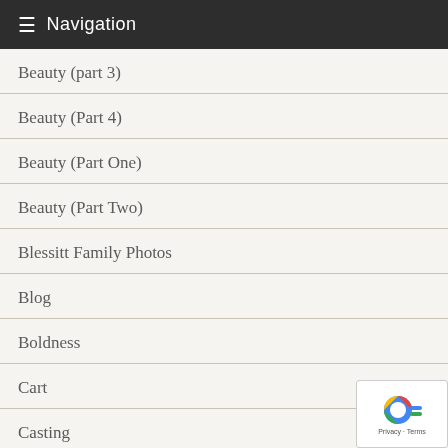≡ Navigation
Beauty (part 3)
Beauty (Part 4)
Beauty (Part One)
Beauty (Part Two)
Blessitt Family Photos
Blog
Boldness
Cart
Casting